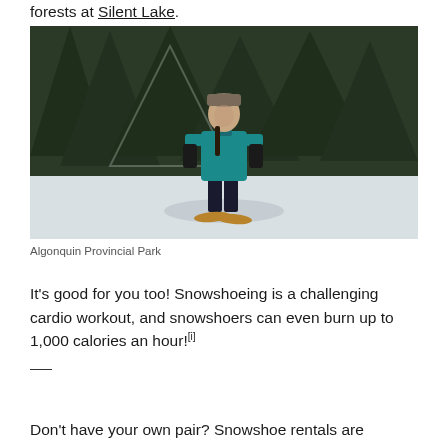forests at Silent Lake.
[Figure (photo): Person wearing teal jacket, dark pants, and snowshoes standing in snow in front of snow-covered evergreen trees at Algonquin Provincial Park]
Algonquin Provincial Park
It’s good for you too! Snowshoeing is a challenging cardio workout, and snowshoers can even burn up to 1,000 calories an hour![i]
Don’t have your own pair? Snowshoe rentals are